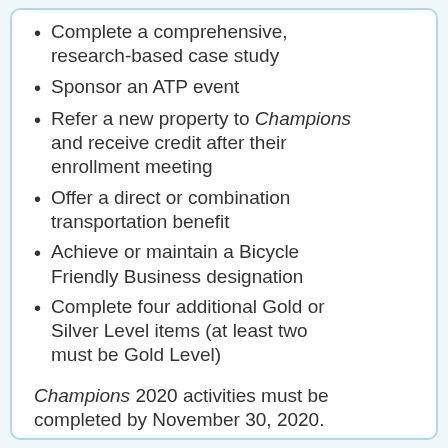Complete a comprehensive, research-based case study
Sponsor an ATP event
Refer a new property to Champions and receive credit after their enrollment meeting
Offer a direct or combination transportation benefit
Achieve or maintain a Bicycle Friendly Business designation
Complete four additional Gold or Silver Level items (at least two must be Gold Level)
Champions 2020 activities must be completed by November 30, 2020.